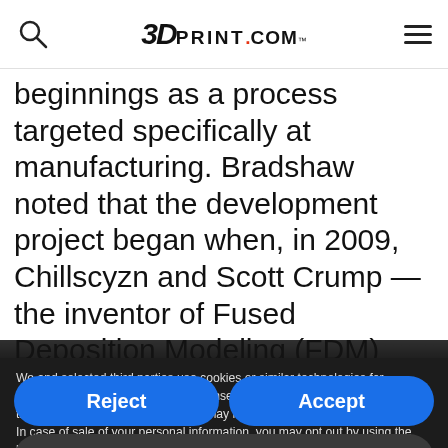3DPRINT.COM
beginnings as a process targeted specifically at manufacturing. Bradshaw noted that the development project began when, in 2009, Chillscyzn and Scott Crump — the inventor of Fused Deposition Modeling (FDM)
We and selected third parties use cookies or similar technologies for technical purposes and, with your consent, for other purposes as specified in the cookie policy. Denying consent may make related features unavailable.
In case of sale of your personal information, you may opt out by using the link "Do Not Sell My Personal Information".
To find out more about the categories of personal information collected and the purposes for which such information will be used, please refer to our privacy policy. You can consent to the use of such technologies by using the "Accept" button, by scrolling this page, by interacting with any link or button outside of this notice or by continuing to browse otherwise.
Reject
Accept
Learn more and customize